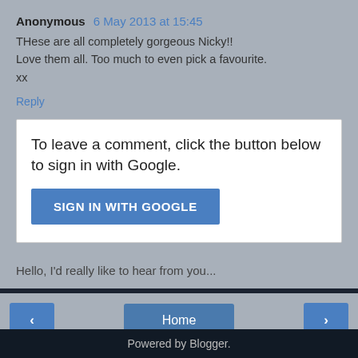Anonymous 6 May 2013 at 15:45
THese are all completely gorgeous Nicky!!
Love them all. Too much to even pick a favourite.
xx
Reply
To leave a comment, click the button below to sign in with Google.
SIGN IN WITH GOOGLE
Hello, I'd really like to hear from you...
Home
View web version
Powered by Blogger.